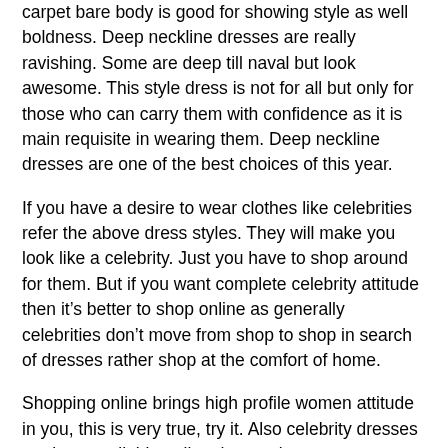carpet bare body is good for showing style as well boldness. Deep neckline dresses are really ravishing. Some are deep till naval but look awesome. This style dress is not for all but only for those who can carry them with confidence as it is main requisite in wearing them. Deep neckline dresses are one of the best choices of this year.
If you have a desire to wear clothes like celebrities refer the above dress styles. They will make you look like a celebrity. Just you have to shop around for them. But if you want complete celebrity attitude then it's better to shop online as generally celebrities don't move from shop to shop in search of dresses rather shop at the comfort of home.
Shopping online brings high profile women attitude in you, this is very true, try it. Also celebrity dresses are best available online that too in numerous varieties.
Dressing like a celebrity changes your personality a lot and gives a feel that you are no less than a celebrity.